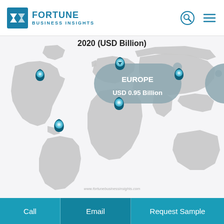Fortune Business Insights
2020 (USD Billion)
[Figure (map): World map infographic showing regional market values with location pin markers. Europe is highlighted with a tooltip showing USD 0.95 Billion. Pins are shown on North America, Europe, Asia (Middle East/Africa region), South America, and Southeast Asia.]
www.fortunebusinessinsights.com
Call   Email   Request Sample